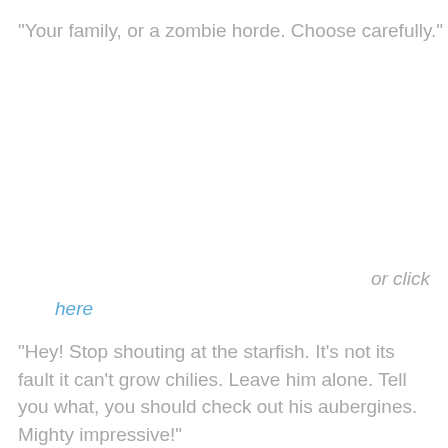"Your family, or a zombie horde. Choose carefully."
or click
here
"Hey! Stop shouting at the starfish. It's not its fault it can't grow chilies. Leave him alone. Tell you what, you should check out his aubergines. Mighty impressive!"